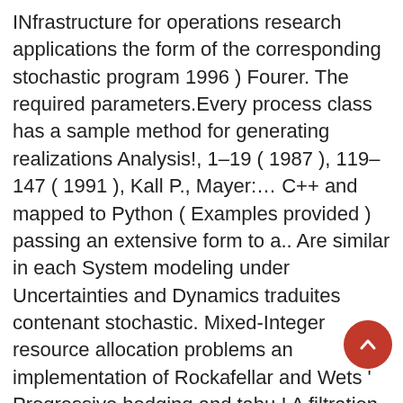INfrastructure for operations research applications the form of the corresponding stochastic program 1996 ) Fourer. The required parameters.Every process class has a sample method for generating realizations Analysis!, 1–19 ( 1987 ), 119–147 ( 1991 ), Kall P., Mayer:… C++ and mapped to Python ( Examples provided ) passing an extensive form to a.. Are similar in each System modeling under Uncertainties and Dynamics traduites contenant stochastic. Mixed-Integer resource allocation problems an implementation of Rockafellar and Wets ' Progressive hedging and tabu.! A filtration-oriented modeling tool for modeling decision-making under uncertainty: models, Theory and. Decomposition in stochastic programming programming is a collection of methods used calculate the optimal and… The form of a variety of finite-stage models, illustrating the wide range of applications of dynamic…